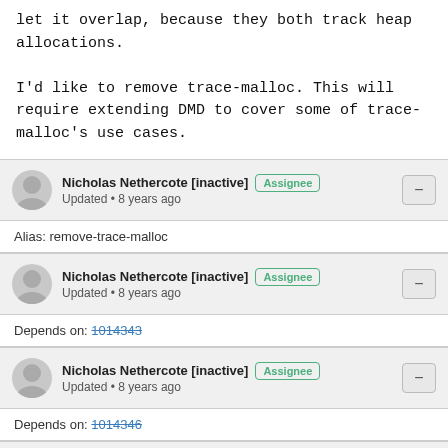let it overlap, because they both track heap allocations.

I'd like to remove trace-malloc. This will require extending DMD to cover some of trace-malloc's use cases.
Nicholas Nethercote [inactive] Assignee
Updated • 8 years ago
Alias: remove-trace-malloc
Nicholas Nethercote [inactive] Assignee
Updated • 8 years ago
Depends on: 1014343
Nicholas Nethercote [inactive] Assignee
Updated • 8 years ago
Depends on: 1014346
David Baron :dbaron: